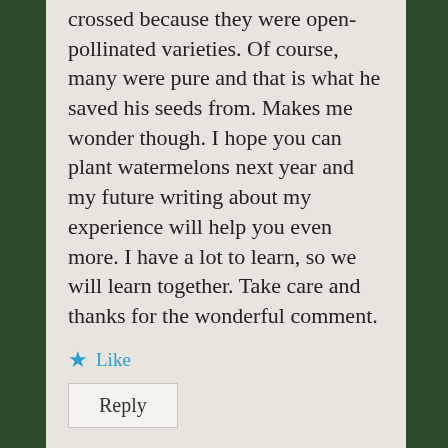crossed because they were open-pollinated varieties. Of course, many were pure and that is what he saved his seeds from. Makes me wonder though. I hope you can plant watermelons next year and my future writing about my experience will help you even more. I have a lot to learn, so we will learn together. Take care and thanks for the wonderful comment.
Like
Reply